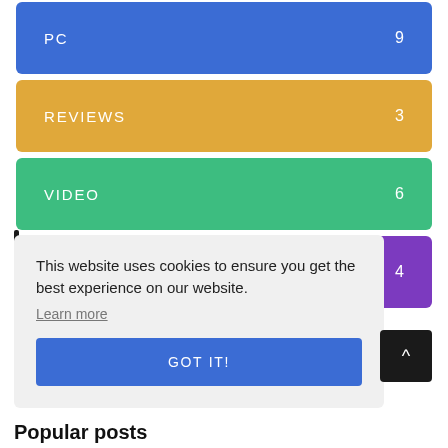PC 9
REVIEWS 3
VIDEO 6
XBOX ONE 4
This website uses cookies to ensure you get the best experience on our website.
Learn more
GOT IT!
Popular posts